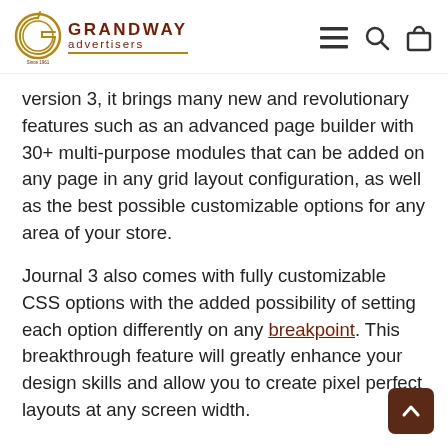Grandway Advertisers — navigation header with logo, menu, search, and cart icons
version 3, it brings many new and revolutionary features such as an advanced page builder with 30+ multi-purpose modules that can be added on any page in any grid layout configuration, as well as the best possible customizable options for any area of your store.
Journal 3 also comes with fully customizable CSS options with the added possibility of setting each option differently on any breakpoint. This breakthrough feature will greatly enhance your design skills and allow you to create pixel perfect layouts at any screen width.